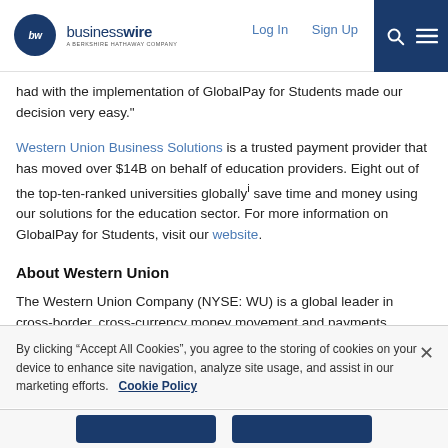businesswire — A BERKSHIRE HATHAWAY COMPANY | Log In | Sign Up
had with the implementation of GlobalPay for Students made our decision very easy."
Western Union Business Solutions is a trusted payment provider that has moved over $14B on behalf of education providers. Eight out of the top-ten-ranked universities globally² save time and money using our solutions for the education sector. For more information on GlobalPay for Students, visit our website.
About Western Union
The Western Union Company (NYSE: WU) is a global leader in cross-border, cross-currency money movement and payments.
By clicking “Accept All Cookies”, you agree to the storing of cookies on your device to enhance site navigation, analyze site usage, and assist in our marketing efforts.   Cookie Policy